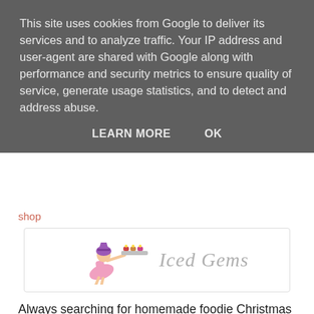This site uses cookies from Google to deliver its services and to analyze traffic. Your IP address and user-agent are shared with Google along with performance and security metrics to ensure quality of service, generate usage statistics, and to detect and address abuse.
LEARN MORE    OK
shop
[Figure (logo): Iced Gems logo: cartoon girl holding cakes on a tray with stylized cursive 'Iced Gems' text]
Always searching for homemade foodie Christmas gift inspiration, I was delighted when I came across Jemma's recipe for Malteaser Truffles on her blog. They looked so impressive yet seemed simple and cheap to make, plus, I'm a BIG fan of Malteasers (who isn't?) I decided I'd have a go at making some for Christmas gifts this year, so I set about ordering some great little Petit Four cases from Jemma's shop, and some gorgeous windowed chocolate boxes from